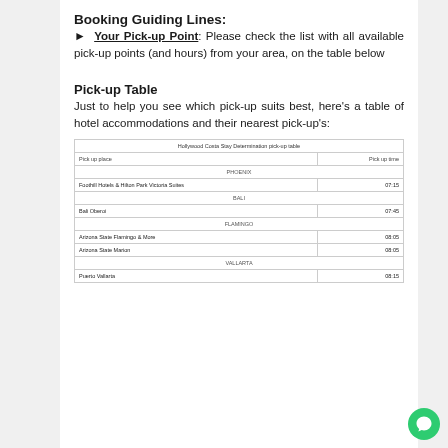Booking Guiding Lines:
► Your Pick-up Point: Please check the list with all available pick-up points (and hours) from your area, on the table below
Pick-up Table
Just to help you see which pick-up suits best, here's a table of hotel accommodations and their nearest pick-up's:
| Pick up place | Pick up time |
| --- | --- |
| PHOENIX |  |
| Foothill Hotels & Hilton Park Victoria Suites | 07:15 |
| BALI |  |
| Bali Oberoi | 07:45 |
| FLAMINGO |  |
| Arizona State Flamingo & More | 08:05 |
| Arizona State Marion | 08:05 |
| VALLARTA |  |
| Puerto Vallarta | 08:15 |